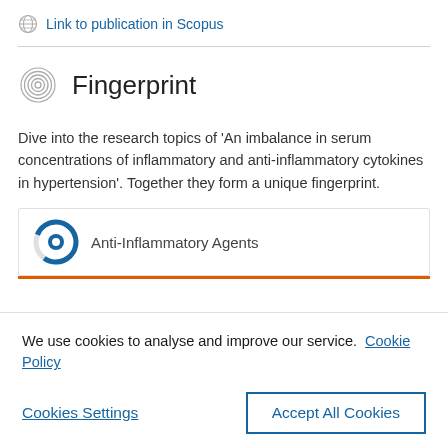Link to publication in Scopus
Fingerprint
Dive into the research topics of 'An imbalance in serum concentrations of inflammatory and anti-inflammatory cytokines in hypertension'. Together they form a unique fingerprint.
Anti-Inflammatory Agents
We use cookies to analyse and improve our service. Cookie Policy
Cookies Settings
Accept All Cookies